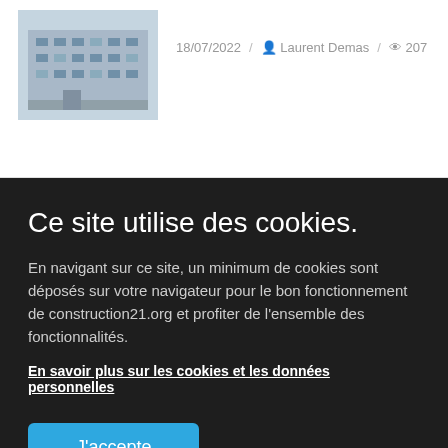[Figure (photo): Thumbnail photo of a building exterior, multi-story architecture]
18/07/2022 / Laurent Demas / 207
Ce site utilise des cookies.
En navigant sur ce site, un minimum de cookies sont déposés sur votre navigateur pour le bon fonctionnement de construction21.org et profiter de l'ensemble des fonctionnalités.
En savoir plus sur les cookies et les données personnelles
J'accepte
Afficher les utilisations